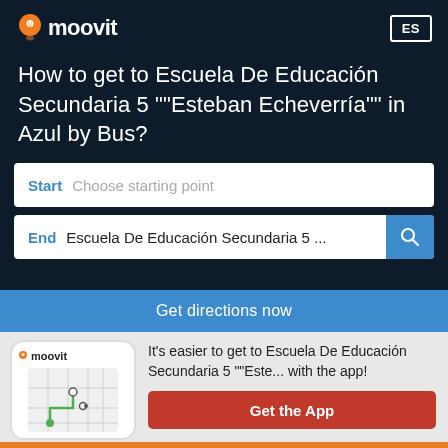[Figure (logo): Moovit logo with orange pin icon and white text on dark navy background]
How to get to Escuela De Educación Secundaria 5 ""Esteban Echeverría"" in Azul by Bus?
Start  Choose starting point
End  Escuela De Educación Secundaria 5 ...
Get directions now
[Figure (screenshot): Phone mockup showing Moovit app with a map route]
It's easier to get to Escuela De Educación Secundaria 5 ""Este... with the app!
Get the App